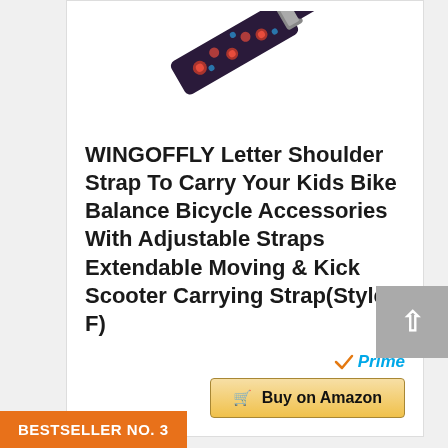[Figure (photo): Product photo of WINGOFFLY shoulder strap with colorful floral/letter pattern, shown diagonally]
WINGOFFLY Letter Shoulder Strap To Carry Your Kids Bike Balance Bicycle Accessories With Adjustable Straps Extendable Moving & Kick Scooter Carrying Strap(Style F)
[Figure (logo): Amazon Prime badge with checkmark and 'Prime' text in blue italic]
Buy on Amazon
BESTSELLER NO. 3